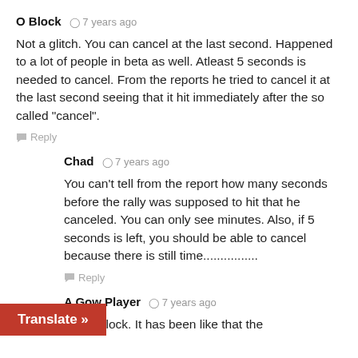O Block  ⊙ 7 years ago
Not a glitch. You can cancel at the last second. Happened to a lot of people in beta as well. Atleast 5 seconds is needed to cancel. From the reports he tried to cancel it at the last second seeing that it hit immediately after the so called "cancel".
Reply
Chad  ⊙ 7 years ago
You can't tell from the report how many seconds before the rally was supposed to hit that he canceled. You can only see minutes. Also, if 5 seconds is left, you should be able to cancel because there is still time................
Reply
A Gow Player  ⊙ 7 years ago
ght O Block. It has been like that the